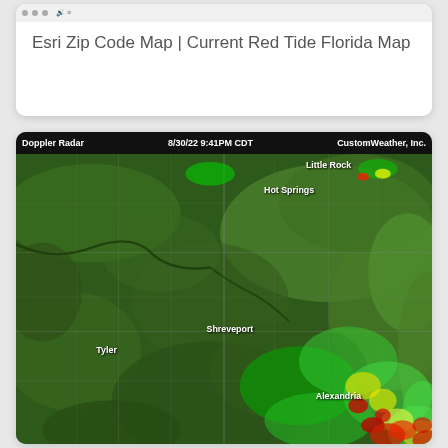[Figure (screenshot): Browser card showing text: Esri Zip Code Map | Current Red Tide Florida Map]
Esri Zip Code Map | Current Red Tide Florida Map
[Figure (map): Doppler Radar map dated 8/30/22 9:41PM CDT from CustomWeather, Inc., showing radar returns over Arkansas, Louisiana, and Texas region. City labels: Little Rock, Hot Springs, Shreveport, Tyler, Alexandria. Bright radar returns (green, yellow, red) visible near Alexandria area.]